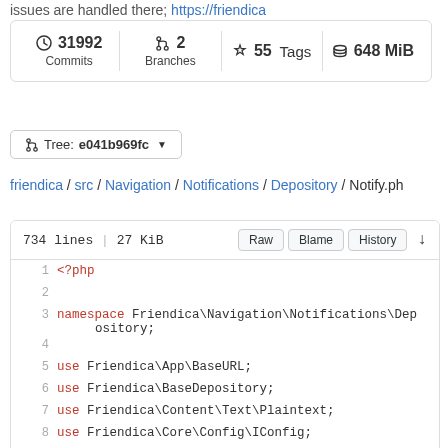issues are handled there; https://friendica
[Figure (screenshot): Repository stats box showing 31992 Commits, 2 Branches, 55 Tags, 648 MiB]
[Figure (screenshot): Branch selector showing Tree: e041b969fc]
friendica / src / Navigation / Notifications / Depository / Notify.ph
[Figure (screenshot): Code viewer showing 734 lines | 27 KiB with Raw, Blame, History buttons and PHP source code starting with <?php, namespace Friendica\Navigation\Notifications\Depository; and use statements]